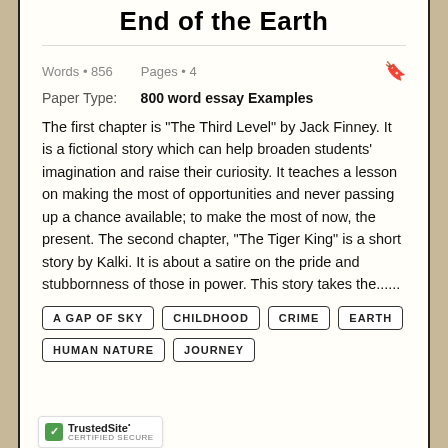End of the Earth
Words • 856    Pages • 4
Paper Type:    800 word essay Examples
The first chapter is "The Third Level" by Jack Finney. It is a fictional story which can help broaden students' imagination and raise their curiosity. It teaches a lesson on making the most of opportunities and never passing up a chance available; to make the most of now, the present. The second chapter, "The Tiger King" is a short story by Kalki. It is about a satire on the pride and stubbornness of those in power. This story takes the......
A GAP OF SKY
CHILDHOOD
CRIME
EARTH
HUMAN NATURE
JOURNEY